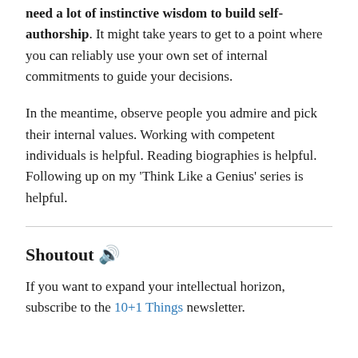need a lot of instinctive wisdom to build self-authorship. It might take years to get to a point where you can reliably use your own set of internal commitments to guide your decisions.
In the meantime, observe people you admire and pick their internal values. Working with competent individuals is helpful. Reading biographies is helpful. Following up on my 'Think Like a Genius' series is helpful.
Shoutout 🔊
If you want to expand your intellectual horizon, subscribe to the 10+1 Things newsletter.